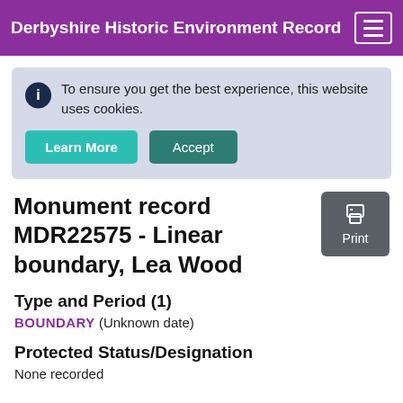Derbyshire Historic Environment Record
To ensure you get the best experience, this website uses cookies.
Monument record MDR22575 - Linear boundary, Lea Wood
Type and Period (1)
BOUNDARY (Unknown date)
Protected Status/Designation
None recorded